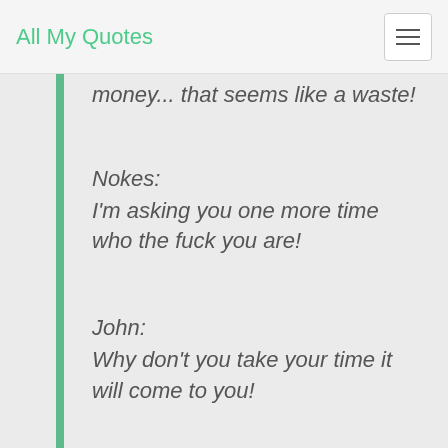All My Quotes
money... that seems like a waste!
Nokes:
I'm asking you one more time who the fuck you are!
John:
Why don't you take your time it will come to you!